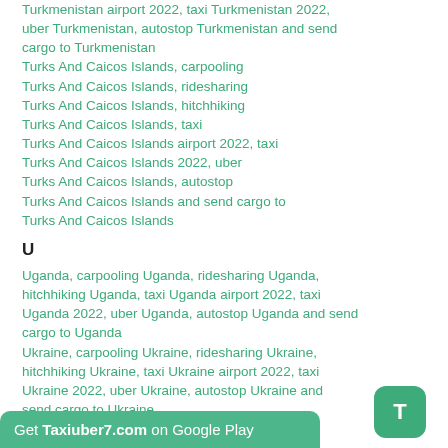Turkmenistan airport 2022, taxi Turkmenistan 2022, uber Turkmenistan, autostop Turkmenistan and send cargo to Turkmenistan
Turks And Caicos Islands, carpooling
Turks And Caicos Islands, ridesharing
Turks And Caicos Islands, hitchhiking
Turks And Caicos Islands, taxi
Turks And Caicos Islands airport 2022, taxi
Turks And Caicos Islands 2022, uber
Turks And Caicos Islands, autostop
Turks And Caicos Islands and send cargo to Turks And Caicos Islands
U
Uganda, carpooling Uganda, ridesharing Uganda, hitchhiking Uganda, taxi Uganda airport 2022, taxi Uganda 2022, uber Uganda, autostop Uganda and send cargo to Uganda
Ukraine, carpooling Ukraine, ridesharing Ukraine, hitchhiking Ukraine, taxi Ukraine airport 2022, taxi Ukraine 2022, uber Ukraine, autostop Ukraine and send cargo to Ukraine
United Arab Emirates, ridesharing
Get Taxiuber7.com on Google Play